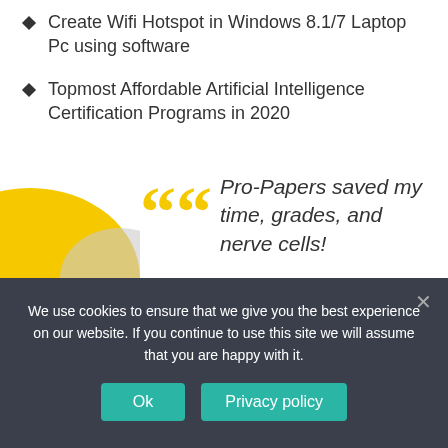Create Wifi Hotspot in Windows 8.1/7 Laptop Pc using software
Topmost Affordable Artificial Intelligence Certification Programs in 2020
Does It Matter Where You Buy Your CBD Oil?
Best Remedies to Get Rid of An Embarrassing Hickeys!
[Figure (illustration): Testimonial block with yellow and grey decorative shapes, large yellow quotation marks, and italic text reading 'Pro-Papers saved my time, grades, and nerve cells!']
We use cookies to ensure that we give you the best experience on our website. If you continue to use this site we will assume that you are happy with it.